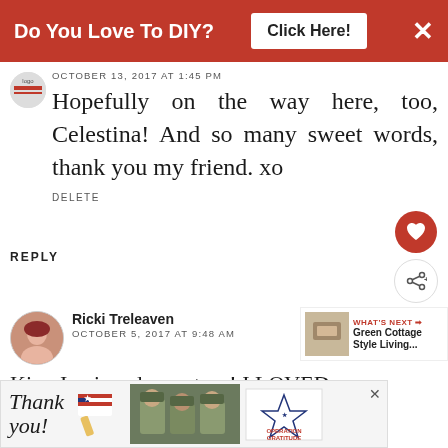[Figure (screenshot): Red advertisement banner with text 'Do You Love To DIY?' and 'Click Here!' button and X close button]
OCTOBER 13, 2017 AT 1:45 PM
Hopefully on the way here, too, Celestina! And so many sweet words, thank you my friend. xo
DELETE
REPLY
Ricki Treleaven
OCTOBER 5, 2017 AT 9:48 AM
Kim, I enjoyed your tour! I LOVED
[Figure (screenshot): Bottom advertisement banner with 'Thank you!' text, American flag design, soldiers photo, and Operation Gratitude logo]
[Figure (screenshot): What's Next widget showing 'Green Cottage Style Living...' with thumbnail image]